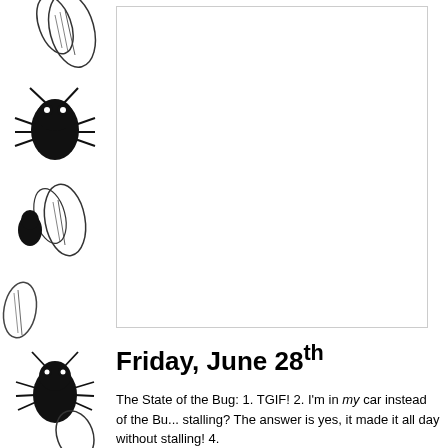[Figure (illustration): Left decorative border strip with black and white bug/insect illustrations repeating vertically]
[Figure (other): Large bordered empty white box, appears to be a picture/image area with light gray border]
Friday, June 28th
The State of the Bug: 1. TGIF! 2. I'm in my car instead of the Bu... stalling? The answer is yes, it made it all day without stalling! 4. ...bed sooner!